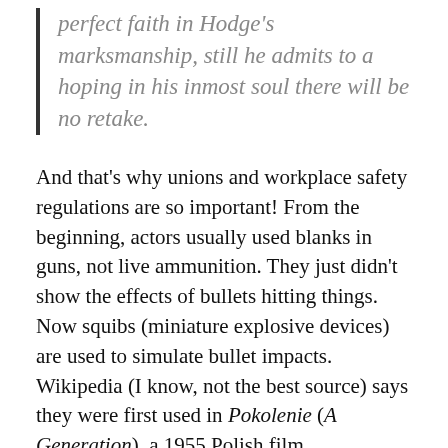perfect faith in Hodge's marksmanship, still he admits to a hoping in his inmost soul there will be no retake.
And that's why unions and workplace safety regulations are so important! From the beginning, actors usually used blanks in guns, not live ammunition. They just didn't show the effects of bullets hitting things. Now squibs (miniature explosive devices) are used to simulate bullet impacts. Wikipedia (I know, not the best source) says they were first used in Pokolenie (A Generation), a 1955 Polish film.
Phantom Gold is so lost that there isn't even an IMDB page for it, but it was mentioned in